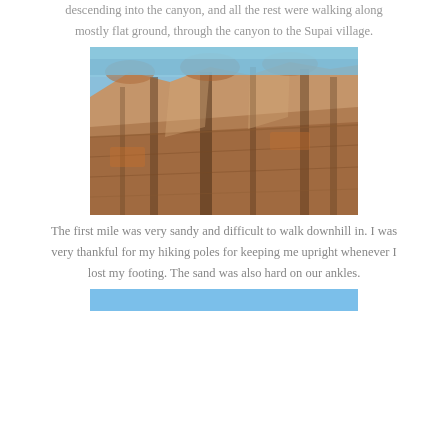descending into the canyon, and all the rest were walking along mostly flat ground, through the canyon to the Supai village.
[Figure (photo): Looking up at tall, layered red and brown sandstone canyon walls with a clear blue sky visible at the top.]
The first mile was very sandy and difficult to walk downhill in. I was very thankful for my hiking poles for keeping me upright whenever I lost my footing. The sand was also hard on our ankles.
[Figure (photo): Partial blue sky photo at bottom of page, beginning of next image.]